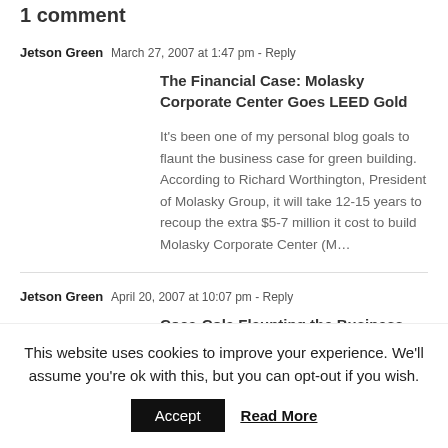1 comment
Jetson Green  March 27, 2007 at 1:47 pm - Reply
The Financial Case: Molasky Corporate Center Goes LEED Gold
It’s been one of my personal blog goals to flaunt the business case for green building. According to Richard Worthington, President of Molasky Group, it will take 12-15 years to recoup the extra $5-7 million it cost to build Molasky Corporate Center (M…
Jetson Green  April 20, 2007 at 10:07 pm - Reply
Coca-Cola Flaunting the Business Case for Green Renovations
This website uses cookies to improve your experience. We’ll assume you’re ok with this, but you can opt-out if you wish.